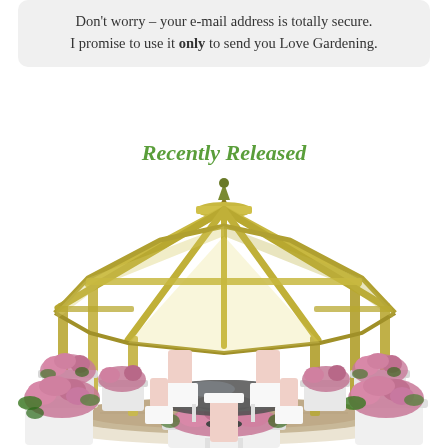Don't worry – your e-mail address is totally secure. I promise to use it only to send you Love Gardening.
Recently Released
[Figure (illustration): Illustration of an open hexagonal gazebo with a yellow wooden frame and decorative spire finial at the top. Inside is a round glass-top patio table with white chairs with pink cushions. The gazebo is surrounded by multiple white planters filled with blooming pink flowers on a tiled patio.]